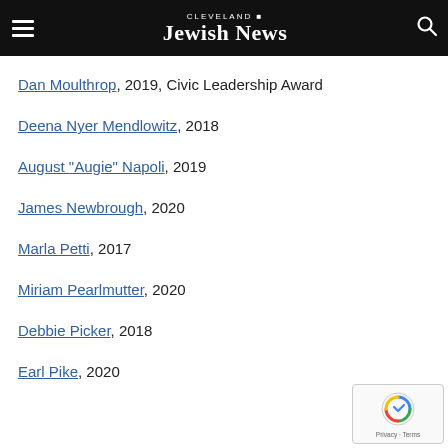Cleveland Jewish News
Dan Moulthrop, 2019, Civic Leadership Award
Deena Nyer Mendlowitz, 2018
August "Augie" Napoli, 2019
James Newbrough, 2020
Marla Petti, 2017
Miriam Pearlmutter, 2020
Debbie Picker, 2018
Earl Pike, 2020